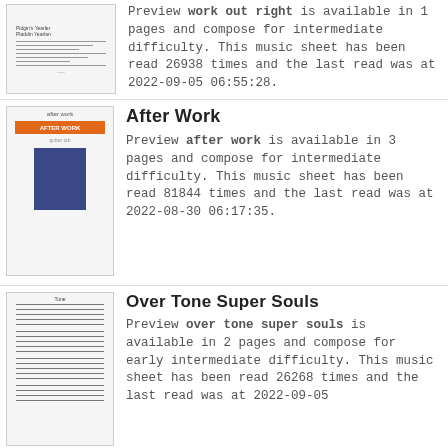[Figure (illustration): Thumbnail of music sheet for 'work out right']
Preview work out right is available in 1 pages and compose for intermediate difficulty. This music sheet has been read 26938 times and the last read was at 2022-09-05 06:55:28.
[Figure (illustration): Thumbnail of music sheet for 'After Work' with orange banner and blue cover image]
After Work
Preview after work is available in 3 pages and compose for intermediate difficulty. This music sheet has been read 81844 times and the last read was at 2022-08-30 06:17:35.
[Figure (illustration): Thumbnail of music sheet for 'Over Tone Super Souls' showing musical notation]
Over Tone Super Souls
Preview over tone super souls is available in 2 pages and compose for early intermediate difficulty. This music sheet has been read 26268 times and the last read was at 2022-09-05 01:21:10.
[Figure (illustration): Thumbnail of music sheet for 'Busy Tone']
Busy Tone
Preview busy tone is available in 5 pages and compose for advanced difficulty. This music sheet has been read 75125 times and the last read was at 2022-09-04 14:44:48.
[Figure (illustration): Thumbnail of music sheet for 'Tone Study In G Minor' with photo cover]
Tone Study In G Minor
Preview tone study in g minor is available in 1 pages and compose for early intermediate